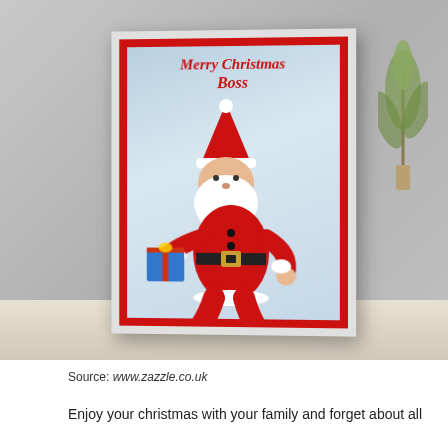[Figure (photo): A Christmas greeting card with a red border showing a cartoon Santa Claus carrying a blue gift, set against a light blue snowy background. The card reads 'Merry Christmas Boss'. The card is photographed propped up on a white marble surface with a decorative plant in the background.]
Source: www.zazzle.co.uk
Enjoy your christmas with your family and forget about all